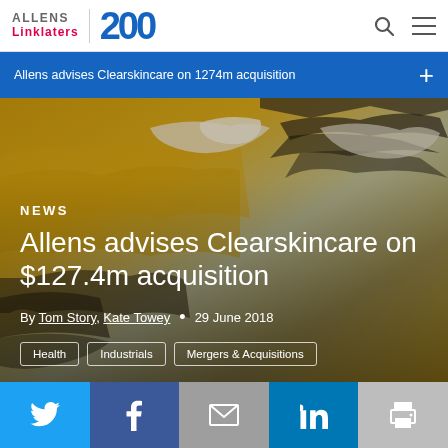Allens Linklaters | 200
Allens advises Clearskincare on 1274m acquisition
[Figure (photo): Aerial photograph of sandy desert landscape with dark rocky formations against golden sand dunes, used as hero background image]
NEWS
Allens advises Clearskincare on $127.4m acquisition
By Tom Story, Kate Towey • 29 June 2018
Health
Industrials
Mergers & Acquisitions
Twitter | Facebook | Email | LinkedIn | Print